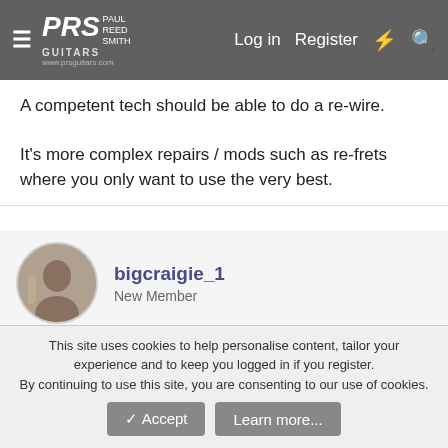PRS Paul Reed Smith Guitars — www.prsguitars.com | Log in | Register
A competent tech should be able to do a re-wire.

It's more complex repairs / mods such as re-frets where you only want to use the very best.
bigcraige_1
New Member
Oct 16, 2015  #10
Take it to Jimmy Egypt in Glasgow if you can. He's based in CC Music just off Great Western Road in the west end. GuitarGuitar could also do it for you. They have shops in both Glasgow &
This site uses cookies to help personalise content, tailor your experience and to keep you logged in if you register.
By continuing to use this site, you are consenting to our use of cookies.